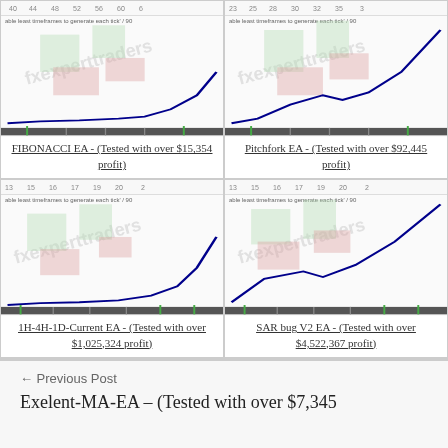[Figure (continuous-plot): Trading chart with an upward curve line (FIBONACCI EA), x-axis shows values 40,44,48,52,56,60,6; small chart with watermark 'fxexperttraders']
FIBONACCI EA - (Tested with over $15,354 profit)
[Figure (continuous-plot): Trading chart with an upward curve line (Pitchfork EA), x-axis shows values 23,25,28,30,32,35,3; small chart with watermark 'fxexperttraders']
Pitchfork EA - (Tested with over $92,445 profit)
[Figure (continuous-plot): Trading chart with an upward exponential curve (1H-4H-1D-Current EA), x-axis shows values 13,15,16,17,19,20,2; watermark 'fxexperttraders']
1H-4H-1D-Current EA - (Tested with over $1,025,324 profit)
[Figure (continuous-plot): Trading chart with a rising stepped line (SAR bug V2 EA), x-axis shows values 13,15,16,17,19,20,2; watermark 'fxexperttraders']
SAR bug V2 EA - (Tested with over $4,522,367 profit)
← Previous Post
Exelent-MA-EA – (Tested with over $7,345